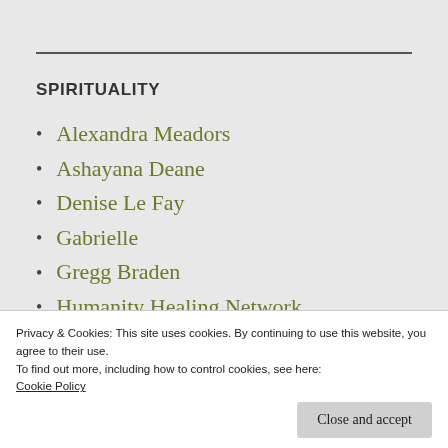SPIRITUALITY
Alexandra Meadors
Ashayana Deane
Denise Le Fay
Gabrielle
Gregg Braden
Humanity Healing Network
Privacy & Cookies: This site uses cookies. By continuing to use this website, you agree to their use.
To find out more, including how to control cookies, see here:
Cookie Policy
Close and accept
Forest Witch…